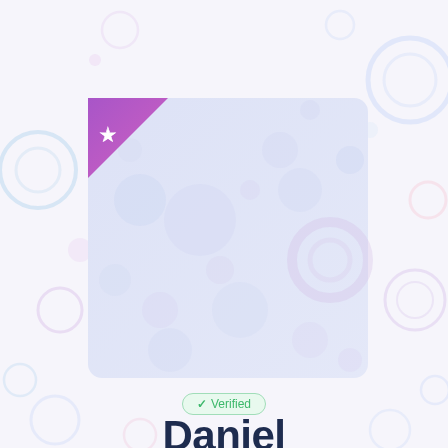[Figure (illustration): Profile card with light blue/lavender gradient background and bubble circle pattern, purple/pink triangular corner badge with a white star icon. Decorative bubbles (circles in pink, blue, lavender) scattered across the full page background.]
✓ Verified
Daniel
Elizondo